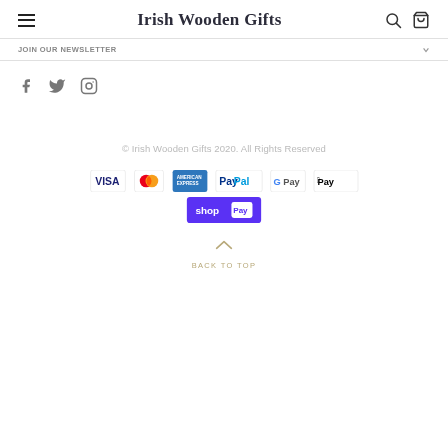Irish Wooden Gifts
JOIN OUR NEWSLETTER
[Figure (other): Social media icons: Facebook, Twitter, Instagram]
© Irish Wooden Gifts 2020. All Rights Reserved
[Figure (other): Payment icons: VISA, Mastercard, American Express, PayPal, G Pay, Apple Pay, Shop Pay]
BACK TO TOP